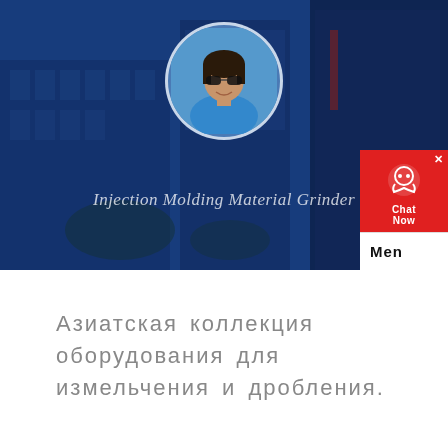[Figure (photo): Hero banner with blue-tinted building background, circular avatar of a woman in sunglasses and blue top, and the text 'Injection Molding Material Grinder' overlaid. A chat widget is visible in the bottom-right corner with a red background, headset icon, 'Chat Now' label, and a white bar labeled 'Men'.]
Азиатская коллекция оборудования для измельчения и дробления.